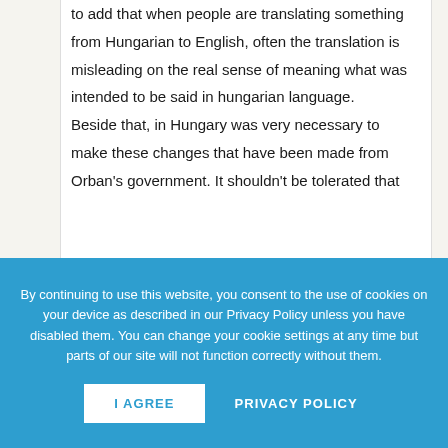to add that when people are translating something from Hungarian to English, often the translation is misleading on the real sense of meaning what was intended to be said in hungarian language.

Beside that, in Hungary was very necessary to make these changes that have been made from Orban's government. It shouldn't be tolerated that
By continuing to use this website, you consent to the use of cookies on your device as described in our Privacy Policy unless you have disabled them. You can change your cookie settings at any time but parts of our site will not function correctly without them.